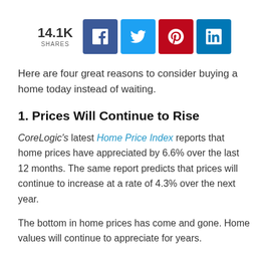[Figure (infographic): Social share bar showing 14.1K shares with Facebook, Twitter, Pinterest, and LinkedIn buttons]
Here are four great reasons to consider buying a home today instead of waiting.
1. Prices Will Continue to Rise
CoreLogic's latest Home Price Index reports that home prices have appreciated by 6.6% over the last 12 months. The same report predicts that prices will continue to increase at a rate of 4.3% over the next year.
The bottom in home prices has come and gone. Home values will continue to appreciate for years.